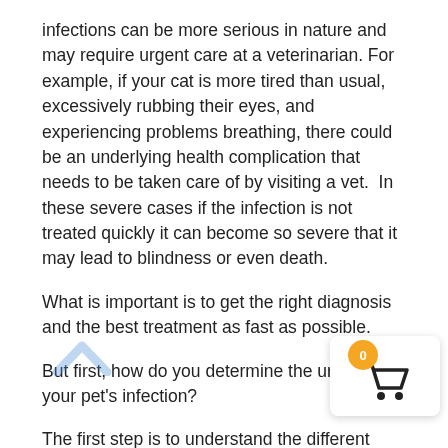infections can be more serious in nature and may require urgent care at a veterinarian. For example, if your cat is more tired than usual, excessively rubbing their eyes, and experiencing problems breathing, there could be an underlying health complication that needs to be taken care of by visiting a vet.  In these severe cases if the infection is not treated quickly it can become so severe that it may lead to blindness or even death.
What is important is to get the right diagnosis and the best treatment as fast as possible.
But first, how do you determine the urgency of your pet's infection?
The first step is to understand the different signs and symptoms that can help you to identify whether your cat actually has an eye infection. Next we will discuss